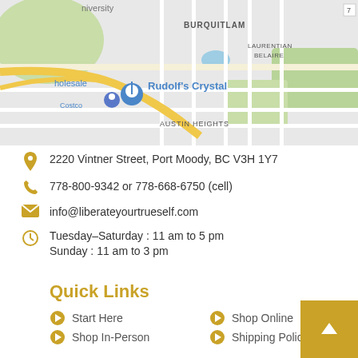[Figure (map): Google Maps screenshot showing Burquitlam, Austin Heights, and Laurentian Belaire areas with a Rudolf's Crystal location pin marked in blue]
2220 Vintner Street, Port Moody, BC V3H 1Y7
778-800-9342 or 778-668-6750 (cell)
info@liberateyourtrueself.com
Tuesday–Saturday : 11 am to 5 pm
Sunday : 11 am to 3 pm
Quick Links
Start Here
Shop Online
Shop In-Person
Shipping Policy